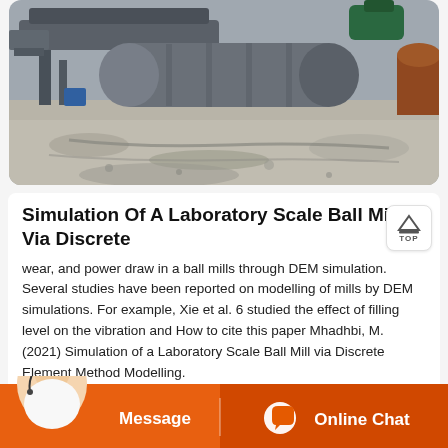[Figure (photo): Industrial ball mill machinery on a construction/mining site with gravel ground and mechanical drum equipment visible]
Simulation Of A Laboratory Scale Ball Mill Via Discrete
wear, and power draw in a ball mills through DEM simulation. Several studies have been reported on modelling of mills by DEM simulations. For example, Xie et al. 6 studied the effect of filling level on the vibration and How to cite this paper Mhadhbi, M. (2021) Simulation of a Laboratory Scale Ball Mill via Discrete Element Method Modelling.
[Figure (photo): Customer service agent (woman with headset) alongside orange Message and Online Chat buttons]
Message
Online Chat